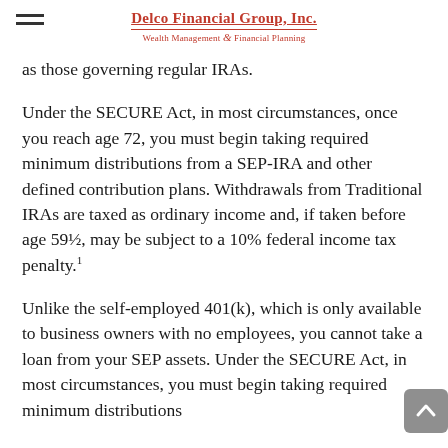Delco Financial Group, Inc. Wealth Management & Financial Planning
as those governing regular IRAs.
Under the SECURE Act, in most circumstances, once you reach age 72, you must begin taking required minimum distributions from a SEP-IRA and other defined contribution plans. Withdrawals from Traditional IRAs are taxed as ordinary income and, if taken before age 59½, may be subject to a 10% federal income tax penalty.¹
Unlike the self-employed 401(k), which is only available to business owners with no employees, you cannot take a loan from your SEP assets. Under the SECURE Act, in most circumstances, you must begin taking required minimum distributions from a 401(k) and other defined contribution plans